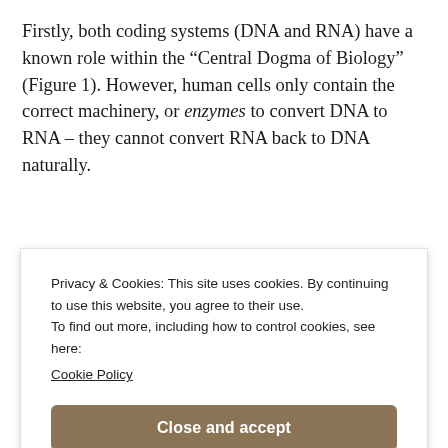Firstly, both coding systems (DNA and RNA) have a known role within the “Central Dogma of Biology” (Figure 1). However, human cells only contain the correct machinery, or enzymes to convert DNA to RNA – they cannot convert RNA back to DNA naturally.
Privacy & Cookies: This site uses cookies. By continuing to use this website, you agree to their use.
To find out more, including how to control cookies, see here:
Cookie Policy

Close and accept